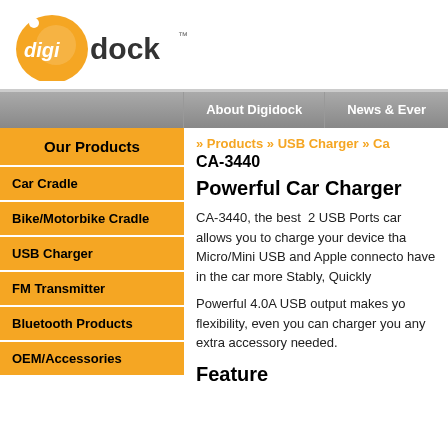[Figure (logo): Digidock logo — orange circular icon with 'digi' text inside and 'dock' in bold next to it, with a trademark symbol]
About Digidock | News & Even...
Our Products
Car Cradle
Bike/Motorbike Cradle
USB Charger
FM Transmitter
Bluetooth Products
OEM/Accessories
» Products » USB Charger » Ca...
CA-3440
Powerful Car Charger
CA-3440, the best  2 USB Ports car allows you to charge your device tha Micro/Mini USB and Apple connecto have in the car more Stably, Quickly
Powerful 4.0A USB output makes yo flexibility, even you can charger you any extra accessory needed.
Feature